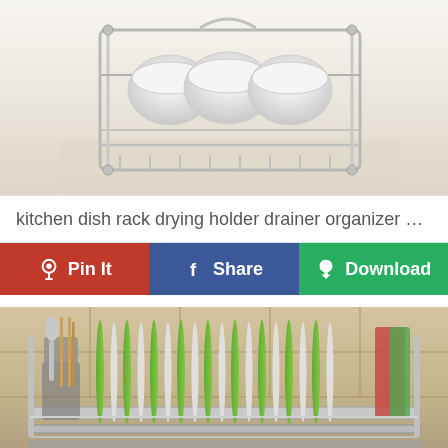[Figure (photo): Chrome kitchen dish rack drying holder with white bowls/cups on a wooden surface, light background]
kitchen dish rack drying holder drainer organizer chrom...
[Figure (infographic): Action bar with three buttons: Pin It (red, Pinterest icon), Share (blue, Facebook f icon), Download (green, cloud download icon)]
[Figure (photo): Two-tier chrome kitchen dish rack with green and white/grey plates standing upright, chopsticks and utensils in holders, cutting board, on beige tile background]